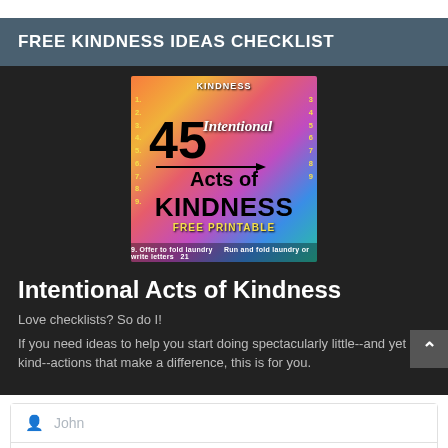FREE KINDNESS IDEAS CHECKLIST
[Figure (illustration): Colorful checklist printable image showing '45 Intentional Acts of Kindness - FREE PRINTABLE' with numbered rows on a vibrant multi-color background]
Intentional Acts of Kindness
Love checklists? So do I!
If you need ideas to help you start doing spectacularly little--and yet kind--actions that make a difference, this is for you.
John
Smith